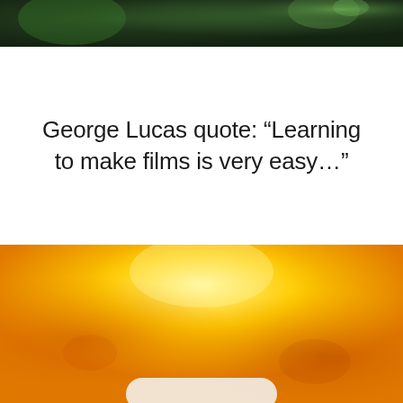[Figure (photo): Partial photo at top of page showing dark green bokeh/blurred background, cropped at bottom of image]
George Lucas quote: “Learning to make films is very easy…”
[Figure (photo): Partial photo at bottom of page showing warm orange and yellow gradient bokeh background, cropped at top — bottom portion of image visible]